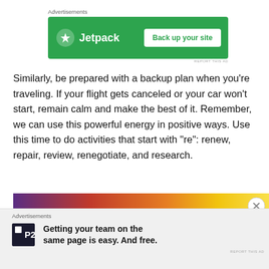[Figure (screenshot): Jetpack advertisement banner: green background with Jetpack logo and 'Back up your site' button]
Similarly, be prepared with a backup plan when you’re traveling. If your flight gets canceled or your car won’t start, remain calm and make the best of it. Remember, we can use this powerful energy in positive ways. Use this time to do activities that start with “re”: renew, repair, review, renegotiate, and research.
[Figure (photo): Sunset image with text overlay reading 'Mercury is Retrograde' in bold serif font]
[Figure (screenshot): P2 advertisement: 'Getting your team on the same page is easy. And free.' with P2 logo on grey background]